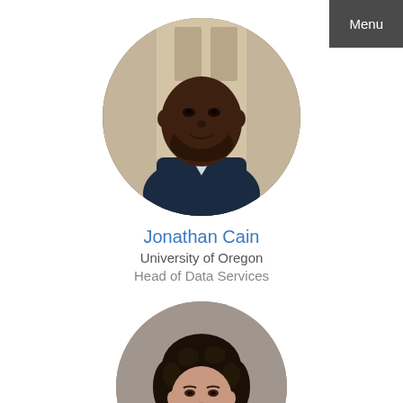Menu
[Figure (photo): Circular profile photo of Jonathan Cain, a man in a dark blazer, smiling, photographed indoors]
Jonathan Cain
University of Oregon
Head of Data Services
[Figure (photo): Circular profile photo of a woman with short dark curly hair, smiling, photographed against a gray background]